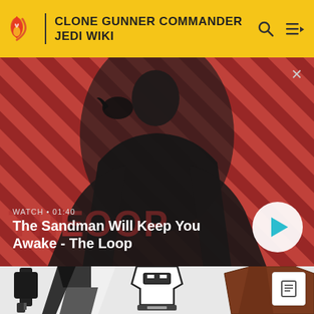CLONE GUNNER COMMANDER JEDI WIKI
[Figure (screenshot): Video thumbnail for 'The Sandman Will Keep You Awake - The Loop' showing a dark figure with a raven on red diagonal striped background. Duration shown as 01:40. Play button visible.]
WATCH • 01:40
The Sandman Will Keep You Awake - The Loop
[Figure (illustration): Clone Gunner Commander Jedi character illustration in black, white, and brown colors on light background with article icon button.]